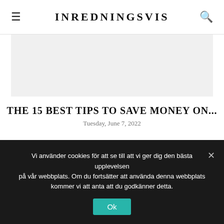INREDNINGSVIS
[Figure (other): Gray placeholder advertisement banner (top)]
THE 15 BEST TIPS TO SAVE MONEY ON...
Tuesday, June 7, 2022
[Figure (other): Gray placeholder advertisement banner (bottom)]
Vi använder cookies för att se till att vi ger dig den bästa upplevelsen på vår webbplats. Om du fortsätter att använda denna webbplats kommer vi att anta att du godkänner detta.
Ok